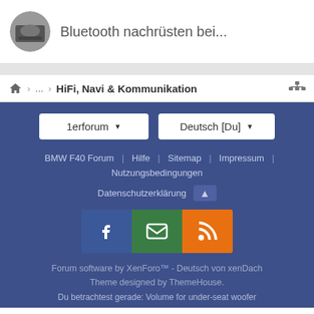Bluetooth nachrüsten bei...
HiFi, Navi & Kommunikation
1erforum ▼
Deutsch [Du] ▼
BMW F40 Forum | Hilfe | Sitemap | Impressum | Nutzungsbedingungen
Datenschutzerklärung ↑
[Figure (screenshot): Social media icons: Facebook (blue), Email (green), RSS (orange)]
Forum software by XenForo™ - Deutsch von xenDach Theme designed by ThemeHouse.
Du betrachtest gerade: Volume for under-seat woofer